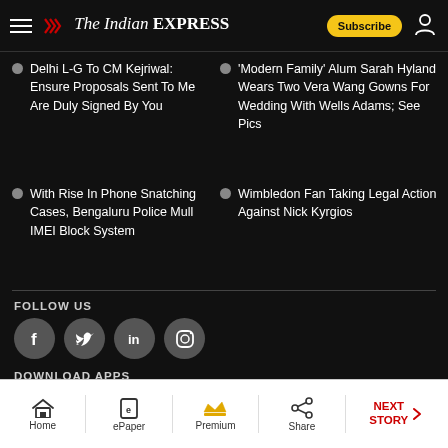The Indian Express — Subscribe
Delhi L-G To CM Kejriwal: Ensure Proposals Sent To Me Are Duly Signed By You
'Modern Family' Alum Sarah Hyland Wears Two Vera Wang Gowns For Wedding With Wells Adams; See Pics
With Rise In Phone Snatching Cases, Bengaluru Police Mull IMEI Block System
Wimbledon Fan Taking Legal Action Against Nick Kyrgios
FOLLOW US
[Figure (infographic): Social media icons: Facebook, Twitter, LinkedIn, Instagram]
DOWNLOAD APPS
[Figure (infographic): App download icons: Android and iOS]
Home | ePaper | Premium | Share | NEXT STORY